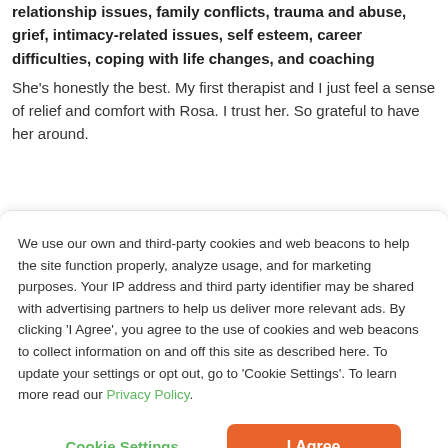Works on issues concerning depression, stress, anxiety, relationship issues, family conflicts, trauma and abuse, grief, intimacy-related issues, self esteem, career difficulties, coping with life changes, and coaching
She's honestly the best. My first therapist and I just feel a sense of relief and comfort with Rosa. I trust her. So grateful to have her around.
We use our own and third-party cookies and web beacons to help the site function properly, analyze usage, and for marketing purposes. Your IP address and third party identifier may be shared with advertising partners to help us deliver more relevant ads. By clicking 'I Agree', you agree to the use of cookies and web beacons to collect information on and off this site as described here. To update your settings or opt out, go to 'Cookie Settings'. To learn more read our Privacy Policy.